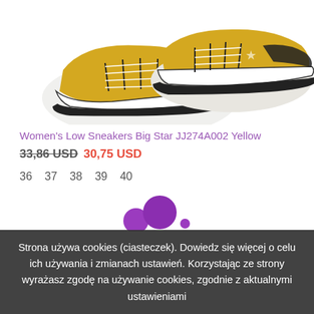[Figure (photo): Photo of yellow and white low-top sneakers (Women's Low Sneakers Big Star JJ274A002 Yellow), showing two shoes from a top-down angle on white background.]
Women's Low Sneakers Big Star JJ274A002 Yellow
33,86 USD 30,75 USD
36  37  38  39  40
[Figure (other): Loading animation dots: three purple circles of increasing size and a smaller dot]
Strona używa cookies (ciasteczek). Dowiedz się więcej o celu ich używania i zmianach ustawień. Korzystając ze strony wyrażasz zgodę na używanie cookies, zgodnie z aktualnymi ustawieniami